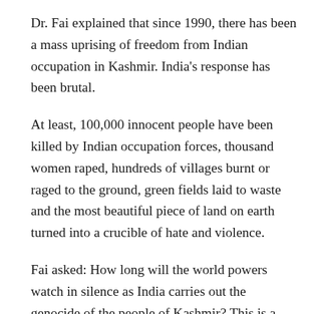Dr. Fai explained that since 1990, there has been a mass uprising of freedom from Indian occupation in Kashmir. India's response has been brutal.
At least, 100,000 innocent people have been killed by Indian occupation forces, thousand women raped, hundreds of villages burnt or raged to the ground, green fields laid to waste and the most beautiful piece of land on earth turned into a crucible of hate and violence.
Fai asked: How long will the world powers watch in silence as India carries out the genocide of the people of Kashmir? This is a question the Kashmiris are asking too.
World powers should persuade India to stop the killing; to end the repression; to revoke Domicile Law which is designed to change the demography of the State of Jammu & Kashmir; and